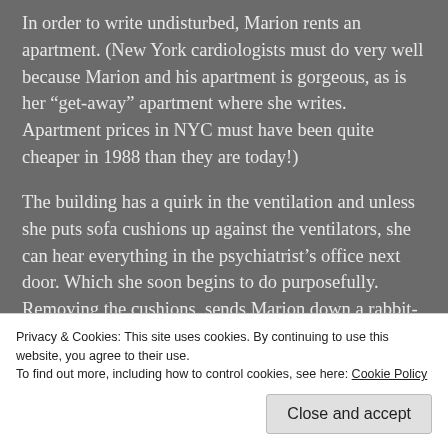In order to write undisturbed, Marion rents an apartment. (New York cardiologists must do very well because Marion and his apartment is gorgeous, as is her “get-away” apartment where she writes. Apartment prices in NYC must have been quite cheaper in 1988 than they are today!)
The building has a quirk in the ventilation and unless she puts sofa cushions up against the ventilators, she can hear everything in the psychiatrist’s office next door. Which she soon begins to do purposefully. Removing the cushions, sends Marion down a rabbit-hole, a path
Privacy & Cookies: This site uses cookies. By continuing to use this website, you agree to their use.
To find out more, including how to control cookies, see here: Cookie Policy